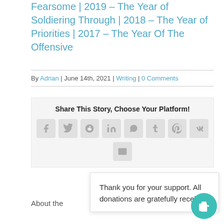Fearsome | 2019 – The Year of Soldiering Through | 2018 – The Year of Priorities | 2017 – The Year Of The Offensive
By Adrian | June 14th, 2021 | Writing | 0 Comments
[Figure (infographic): Share This Story, Choose Your Platform! social sharing buttons for Facebook, Twitter, Reddit, LinkedIn, WhatsApp, Tumblr, Pinterest, VK, and Email]
Thank you for your support. All donations are gratefully received
About the